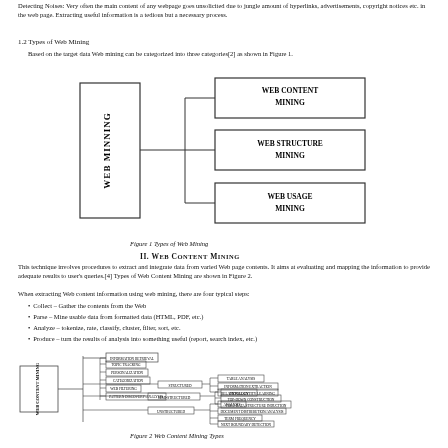Detecting Noises: Very often the main content of any webpage goes unsolicited due to jungle amount of hyperlinks, advertisements, copyright notices etc. in the web page. Extracting useful information is a tedious but a necessary process.
1.2 Types of Web Mining
Based on the target data Web mining can be categorized into three categories[2] as shown in Figure 1.
[Figure (flowchart): Flowchart showing WEB MINNING branching into three boxes: WEB CONTENT MINING, WEB STRUCTURE MINING, WEB USAGE MINING]
Figure 1   Types of Web Mining
II. WEB CONTENT MINING
This technique involves procedures to extract and integrate data from varied Web page contents. It aims at evaluating and mapping the information to provide adequate results to user's queries.[4] Types of Web Content Mining are shown in Figure 2.
When extracting Web content information using web mining, there are four typical steps:
Collect – Gather the contents from the Web
Parse – Mine usable data from formatted data (HTML, PDF, etc.)
Analyze – tokenize, rate, classify, cluster, filter, sort, etc.
Produce – turn the results of analysis into something useful (report, search index, etc.)
[Figure (flowchart): Detailed flowchart of Web Content Mining Types branching into multiple subcategories]
Figure 2   Web Content Mining Types